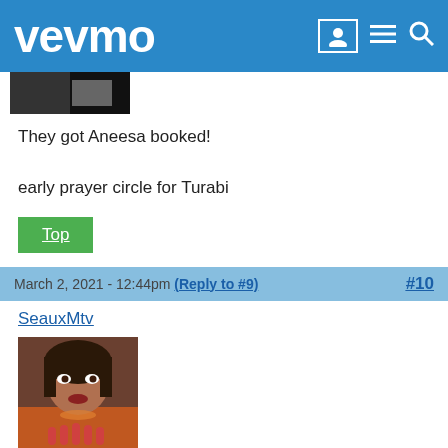vevmo
[Figure (photo): Small thumbnail image strip, partially visible at top of content]
They got Aneesa booked!

early prayer circle for Turabi
Top
March 2, 2021 - 12:44pm (Reply to #9) #10
SeauxMtv
[Figure (photo): Avatar photo of a woman with long nails]
Big T securing her regular spot.